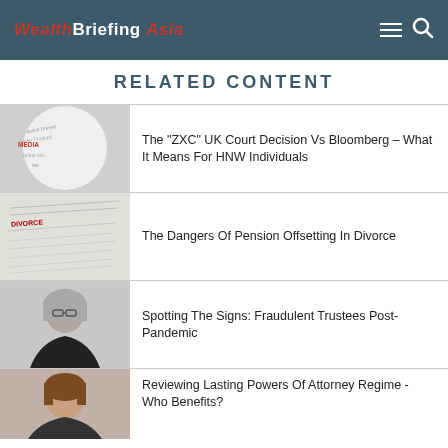WealthBriefing Asia
RELATED CONTENT
[Figure (photo): A white sphere with text/words on it, with MEDIA highlighted in red]
The "ZXC" UK Court Decision Vs Bloomberg – What It Means For HNW Individuals
[Figure (photo): Close-up of a document with the word DIVORCE visible]
The Dangers Of Pension Offsetting In Divorce
[Figure (photo): Portrait of a woman with grey hair and glasses wearing a dark blazer]
Spotting The Signs: Fraudulent Trustees Post-Pandemic
[Figure (photo): Portrait of a woman with brown hair, partially visible]
Reviewing Lasting Powers Of Attorney Regime - Who Benefits?